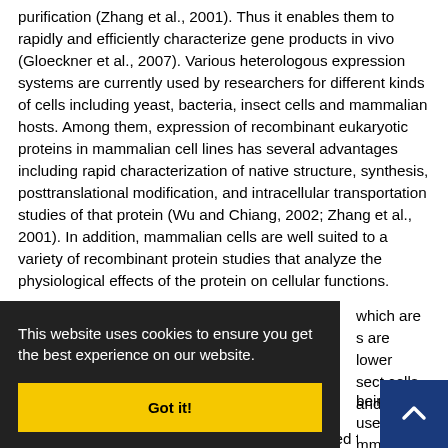purification (Zhang et al., 2001). Thus it enables them to rapidly and efficiently characterize gene products in vivo (Gloeckner et al., 2007). Various heterologous expression systems are currently used by researchers for different kinds of cells including yeast, bacteria, insect cells and mammalian hosts. Among them, expression of recombinant eukaryotic proteins in mammalian cell lines has several advantages including rapid characterization of native structure, synthesis, posttranslational modification, and intracellular transportation studies of that protein (Wu and Chiang, 2002; Zhang et al., 2001). In addition, mammalian cells are well suited to a variety of recombinant protein studies that analyze the physiological effects of the protein on cellular functions.
...which are ...s are lower ...sect cells ...d and Lu,
...being used ...mmalian expression systems. One of the most widely used tags,
This website uses cookies to ensure you get the best experience on our website.